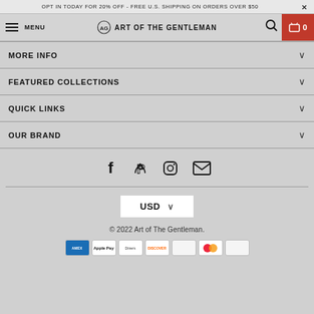OPT IN TODAY FOR 20% OFF - FREE U.S. SHIPPING ON ORDERS OVER $50  X
MENU  ART OF THE GENTLEMAN  0
MORE INFO
FEATURED COLLECTIONS
QUICK LINKS
OUR BRAND
[Figure (infographic): Social media icons: Facebook, Pinterest, Instagram, Email]
USD
© 2022 Art of The Gentleman.
[Figure (infographic): Payment method icons row: American Express, Apple Pay, Diners, Discover, and others]